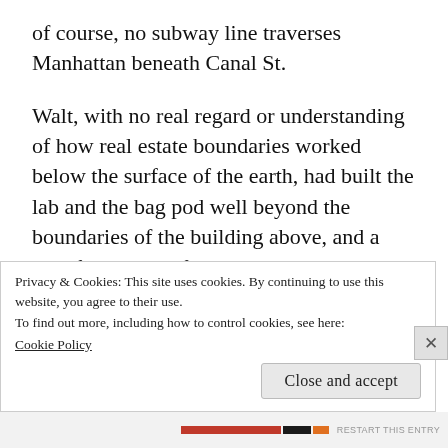of course, no subway line traverses Manhattan beneath Canal St.
Walt, with no real regard or understanding of how real estate boundaries worked below the surface of the earth, had built the lab and the bag pod well beyond the boundaries of the building above, and a significant part of it extended beneath the building facing demolition. With each yank of the wrecking claw, a little more weight of the building crashed onto the area above the pod. A
Privacy & Cookies: This site uses cookies. By continuing to use this website, you agree to their use.
To find out more, including how to control cookies, see here:
Cookie Policy
Close and accept